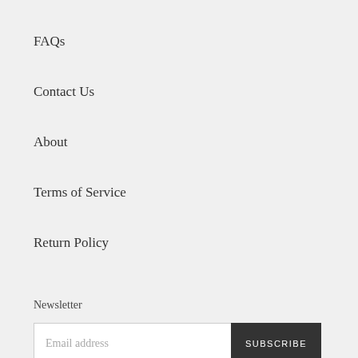FAQs
Contact Us
About
Terms of Service
Return Policy
Newsletter
Email address
SUBSCRIBE